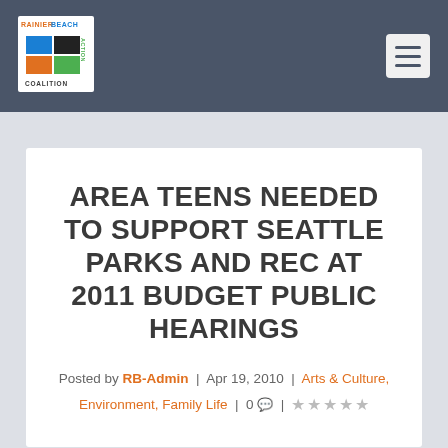[Figure (logo): Rainier Beach Action Coalition logo with colored squares (blue, black, orange, green) and text]
AREA TEENS NEEDED TO SUPPORT SEATTLE PARKS AND REC AT 2011 BUDGET PUBLIC HEARINGS
Posted by RB-Admin | Apr 19, 2010 | Arts & Culture, Environment, Family Life | 0 | ★☆☆☆☆